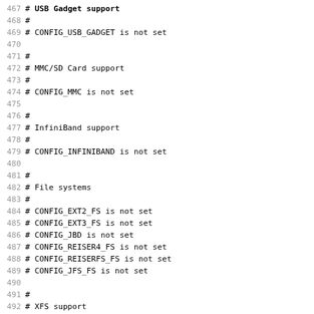467 # USB Gadget support
468 #
469 # CONFIG_USB_GADGET is not set
470
471 #
472 # MMC/SD Card support
473 #
474 # CONFIG_MMC is not set
475
476 #
477 # InfiniBand support
478 #
479 # CONFIG_INFINIBAND is not set
480
481 #
482 # File systems
483 #
484 # CONFIG_EXT2_FS is not set
485 # CONFIG_EXT3_FS is not set
486 # CONFIG_JBD is not set
487 # CONFIG_REISER4_FS is not set
488 # CONFIG_REISERFS_FS is not set
489 # CONFIG_JFS_FS is not set
490
491 #
492 # XFS support
493 #
494 # CONFIG_XFS_FS is not set
495 # CONFIG_MINIX_FS is not set
496 # CONFIG_ROMFS_FS is not set
497 CONFIG_INOTIFY=y
498 # CONFIG_QUOTA is not set
499 CONFIG_DNOTIFY=y